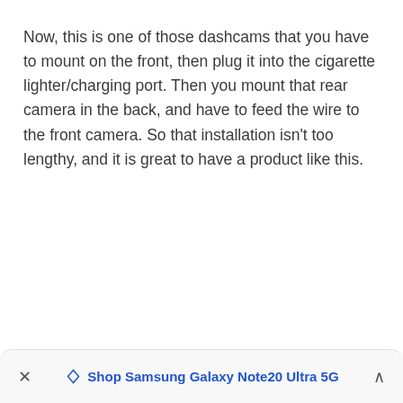Now, this is one of those dashcams that you have to mount on the front, then plug it into the cigarette lighter/charging port. Then you mount that rear camera in the back, and have to feed the wire to the front camera. So that installation isn't too lengthy, and it is great to have a product like this.
× ◇ Shop Samsung Galaxy Note20 Ultra 5G ∧